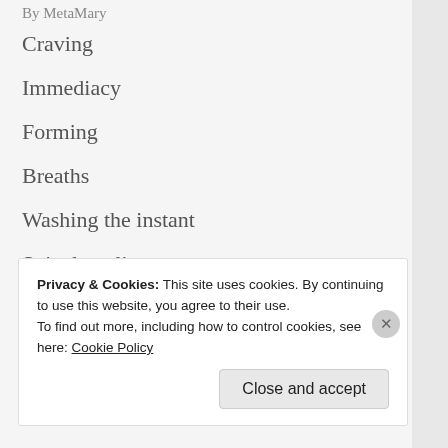By MetaMary
Craving
Immediacy
Forming
Breaths
Washing the instant
Spinal cooling
Awareness of nature dreaming
Privacy & Cookies: This site uses cookies. By continuing to use this website, you agree to their use.
To find out more, including how to control cookies, see here: Cookie Policy
Close and accept